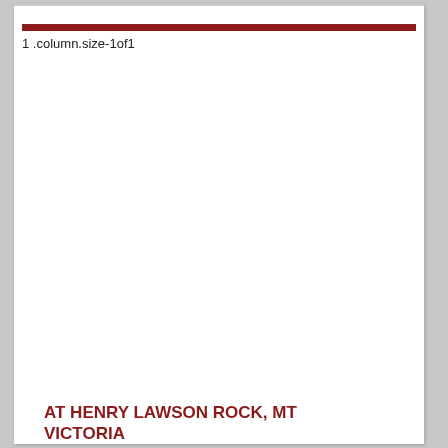1 .column.size-1of1
AT HENRY LAWSON ROCK, MT VICTORIA